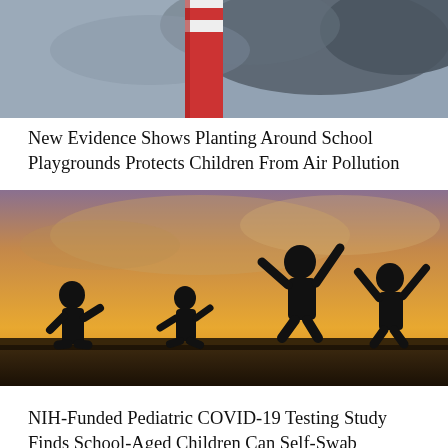[Figure (photo): Partial view of a red and white industrial chimney or smokestack against a cloudy grey sky]
New Evidence Shows Planting Around School Playgrounds Protects Children From Air Pollution
[Figure (photo): Silhouettes of four children jumping and playing against a warm golden sunset sky with clouds]
NIH-Funded Pediatric COVID-19 Testing Study Finds School-Aged Children Can Self-Swab